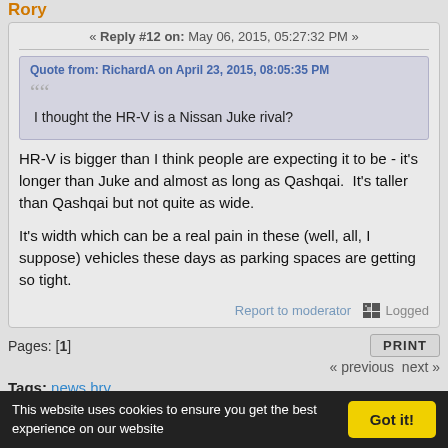Rory
« Reply #12 on: May 06, 2015, 05:27:32 PM »
Quote from: RichardA on April 23, 2015, 08:05:35 PM
I thought the HR-V is a Nissan Juke rival?
HR-V is bigger than I think people are expecting it to be - it's longer than Juke and almost as long as Qashqai.  It's taller than Qashqai but not quite as wide.

It's width which can be a real pain in these (well, all, I suppose) vehicles these days as parking spaces are getting so tight.
Report to moderator   Logged
Pages: [1]
PRINT
« previous next »
Tags: news hrv
This website uses cookies to ensure you get the best experience on our website   Got it!